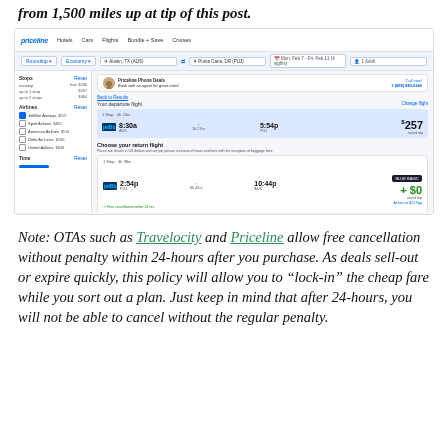from 1,500 miles up at tip of this post.
[Figure (screenshot): Screenshot of Priceline flight search results page showing a roundtrip search from Austin, TX (AUS) to Punta Cana, DR (PUJ), Mon Feb 7 - Fri Feb 11 (4 nights), 1 Adult. Departure flight shown: JetBlue, 8:30a AUS to 5:54p PUJ, 1 stop, $257 round trip. Return flight section with JetBlue 2:54p PUJ to 10:44p AUS, BLUE BASIC +$0 round trip, as low as $257/pp. Free cancellation within 24 hrs shown.]
Note: OTAs such as Travelocity and Priceline allow free cancellation without penalty within 24-hours after you purchase. As deals sell-out or expire quickly, this policy will allow you to “lock-in” the cheap fare while you sort out a plan. Just keep in mind that after 24-hours, you will not be able to cancel without the regular penalty.